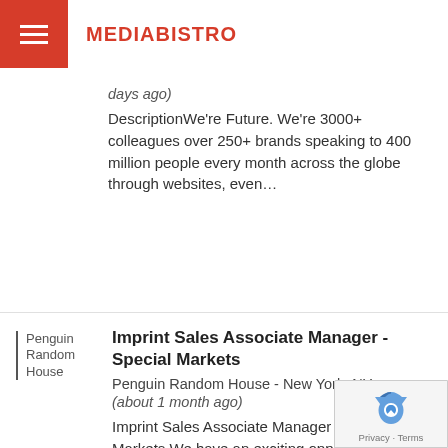MEDIABISTRO
days ago) DescriptionWe're Future. We're 3000+ colleagues over 250+ brands speaking to 400 million people every month across the globe through websites, even…
[Figure (logo): Penguin Random House logo with vertical bar and text]
Imprint Sales Associate Manager - Special Markets
Penguin Random House - New York, NY
(about 1 month ago)
Imprint Sales Associate Manager – Special Markets We have an exciting opportunity for an Imprint Sales Associate Manager to join the Client Imprin…